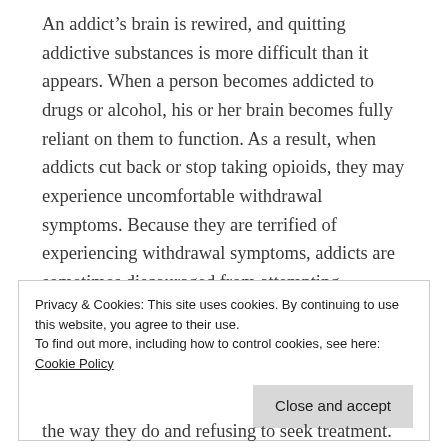An addict's brain is rewired, and quitting addictive substances is more difficult than it appears. When a person becomes addicted to drugs or alcohol, his or her brain becomes fully reliant on them to function. As a result, when addicts cut back or stop taking opioids, they may experience uncomfortable withdrawal symptoms. Because they are terrified of experiencing withdrawal symptoms, addicts are sometimes discouraged from attempting sobriety.
Privacy & Cookies: This site uses cookies. By continuing to use this website, you agree to their use. To find out more, including how to control cookies, see here: Cookie Policy
the way they do and refusing to seek treatment.